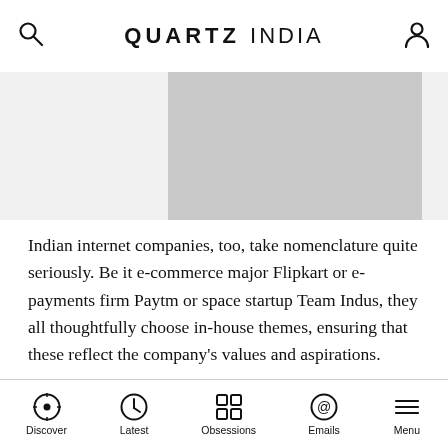QUARTZ INDIA
[Figure (photo): Banner image placeholder with gray blocks]
Indian internet companies, too, take nomenclature quite seriously. Be it e-commerce major Flipkart or e-payments firm Paytm or space startup Team Indus, they all thoughtfully choose in-house themes, ensuring that these reflect the company's values and aspirations.
On the face of it, this may seem overindulgent, experts believe it helps build a company's ethos. “Rituals and routines can play a role in developing an organisational culture by creating narratives within the firm,” said Suresh Bhagavatula, faculty at the Indian Institute of
Discover   Latest   Obsessions   Emails   Menu